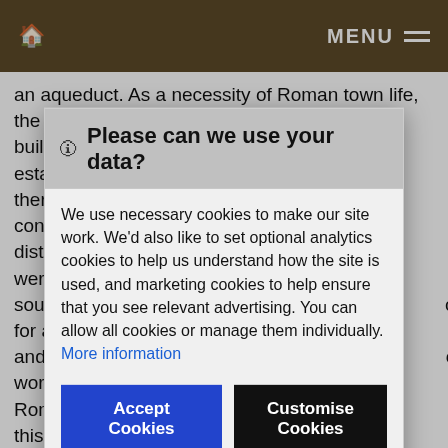🏠  MENU
an aqueduct. As a necessity of Roman town life, the public bath house was one of the first buildings to be constructed after the establishment of a town. Most bath houses, ther... cont... re distr... were sout... ce for a and oe wor... Rom... nd this ther... layer... impo... ut, development and social significance of the bath house within the town.
🛈 Please can we use your data?

We use necessary cookies to make our site work. We'd also like to set optional analytics cookies to help us understand how the site is used, and marketing cookies to help ensure that you see relevant advertising. You can allow all cookies or manage them individually. More information

[Accept Cookies] [Customise Cookies]